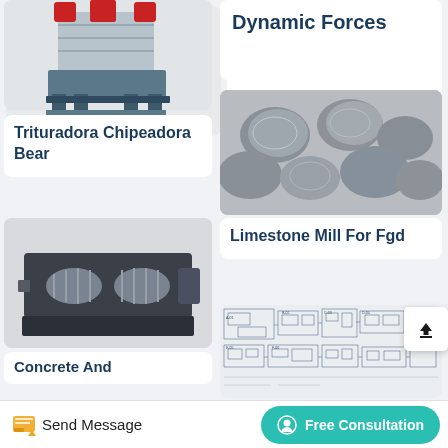[Figure (photo): Industrial machine (Trituradora Chipeadora Bear) — vertical cylinder with red components on metal frame, partial view cropped at top]
Trituradora Chipeadora Bear
Dynamic Forces
[Figure (photo): Grey metallic cylindrical chunks/stones (Limestone Mill For Fgd)]
Limestone Mill For Fgd
[Figure (photo): Industrial crusher/roller machine component, dark grey, mechanical rollers visible]
Concrete And
[Figure (engineering-diagram): Technical engineering blueprint/schematic drawing of industrial equipment layout]
Send Message   Free Consultation